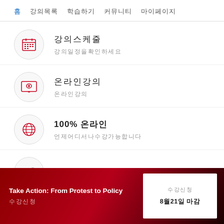홈  강의목록  학습하기  커뮤니티  마이페이지
강의스케줄
강의일정을확인하세요
온라인강의
온라인강의
100% 온라인
언제어디서나수강가능합니다
통계
Take Action: From Protest to Policy | 수강신청 | 8월21일 마감